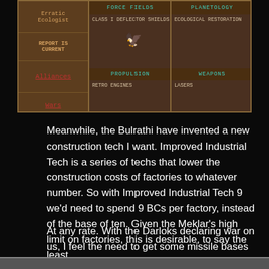[Figure (screenshot): A screenshot of a classic strategy game (Master of Orion) technology screen showing a tech tree grid. Left column shows: 'Erratic Ecologist', 'REPORT IS CURRENT', 'Alliances', 'Wars'. Top section shows FORCE FIELDS with 'CLASS I DEFLECTOR SHIELDS' and PLANETOLOGY with 'ECOLOGICAL RESTORATION'. Bottom section shows PROPULSION with 'RETRO ENGINES' and WEAPONS with 'LASERS'. A small bird/eagle icon appears in the force fields area.]
Meanwhile, the Bulrathi have invented a new construction tech I want. Improved Industrial Tech is a series of techs that lower the construction costs of factories to whatever number. So with Improved Industrial Tech 9 we'd need to spend 9 BCs per factory, instead of the base of ten. Given the Meklar's high limit on factories, this is desirable, to say the least.
At any rate. With the Darloks declaring war on us, I feel the need to get some missile bases up.